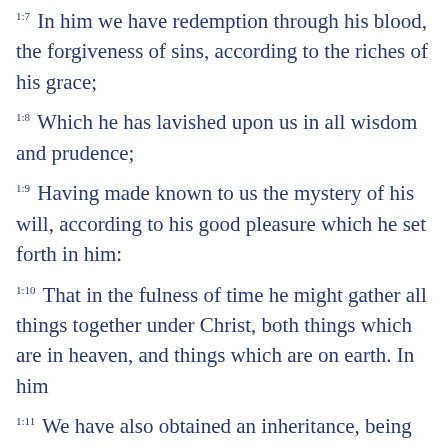1:7 In him we have redemption through his blood, the forgiveness of sins, according to the riches of his grace;
1:8 Which he has lavished upon us in all wisdom and prudence;
1:9 Having made known to us the mystery of his will, according to his good pleasure which he set forth in him:
1:10 That in the fulness of time he might gather all things together under Christ, both things which are in heaven, and things which are on earth. In him
1:11 We have also obtained an inheritance, being predestined according to the purpose of him who works all things after the counsel of his own will: